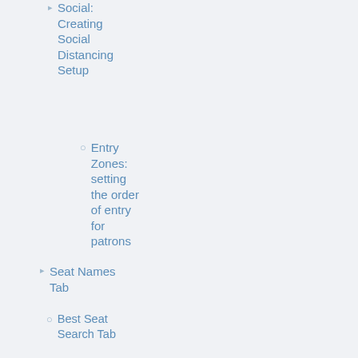Social: Creating Social Distancing Setup
Entry Zones: setting the order of entry for patrons
Seat Names Tab
Best Seat Search Tab
Price Code Search Tab
Exporting Theatre